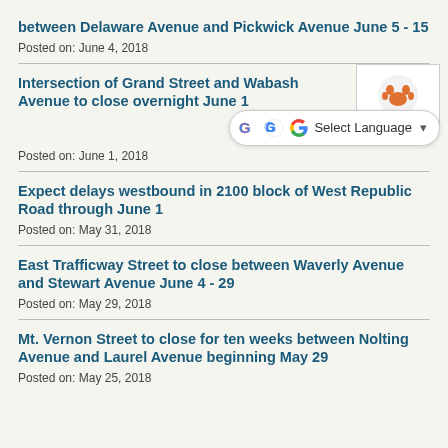between Delaware Avenue and Pickwick Avenue June 5 - 15
Posted on: June 4, 2018
Intersection of Grand Street and Wabash Avenue to close overnight June 1
Posted on: June 1, 2018
Expect delays westbound in 2100 block of West Republic Road through June 1
Posted on: May 31, 2018
East Trafficway Street to close between Waverly Avenue and Stewart Avenue June 4 - 29
Posted on: May 29, 2018
Mt. Vernon Street to close for ten weeks between Nolting Avenue and Laurel Avenue beginning May 29
Posted on: May 25, 2018